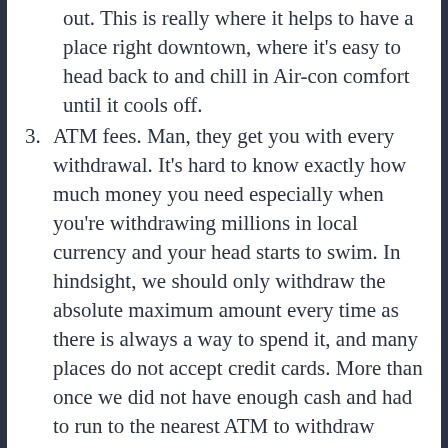out. This is really where it helps to have a place right downtown, where it's easy to head back to and chill in Air-con comfort until it cools off.
3. ATM fees. Man, they get you with every withdrawal. It's hard to know exactly how much money you need especially when you're withdrawing millions in local currency and your head starts to swim. In hindsight, we should only withdraw the absolute maximum amount every time as there is always a way to spend it, and many places do not accept credit cards. More than once we did not have enough cash and had to run to the nearest ATM to withdraw more. There are banks that do not charge ATM fees and reimburse you for international ones, and perhaps it would have been wise to use one of those, but since we have so many automatic payments arranged through our current bank, it felt like too much work.